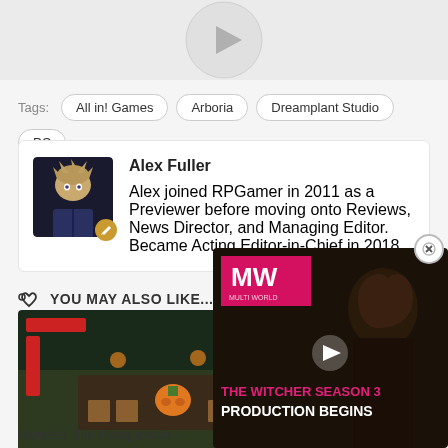[Figure (other): Video play button circle at top of page]
Tags: All in! Games  Arboria  Dreamplant Studio  PC
[Figure (photo): Author avatar for Alex Fuller - anime style character with spiky hair]
Alex Fuller
Alex joined RPGamer in 2011 as a Previewer before moving onto Reviews, News Director, and Managing Editor. Became Acting Editor-in-Chief in 2018.
YOU MAY ALSO LIKE...
[Figure (screenshot): Video game screenshot showing top-down dungeon scene with pumpkin character]
[Figure (screenshot): The Witcher Season 3 Production Begins - MW advertisement overlay with close button]
Vampire: The Masquerade –